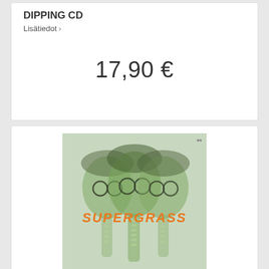DIPPING CD
Lisätiedot ›
17,90 €
[Figure (photo): Supergrass album cover showing three overlapping x-ray style faces in green tones with orange 'SUPERGRASS' text across the middle]
KATSO